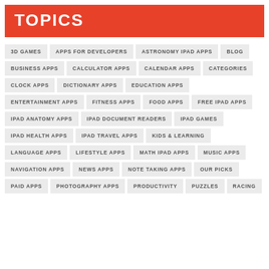TOPICS
3D GAMES
APPS FOR DEVELOPERS
ASTRONOMY IPAD APPS
BLOG
BUSINESS APPS
CALCULATOR APPS
CALENDAR APPS
CATEGORIES
CLOCK APPS
DICTIONARY APPS
EDUCATION APPS
ENTERTAINMENT APPS
FITNESS APPS
FOOD APPS
FREE IPAD APPS
IPAD ANATOMY APPS
IPAD DOCUMENT READERS
IPAD GAMES
IPAD HEALTH APPS
IPAD TRAVEL APPS
KIDS & LEARNING
LANGUAGE APPS
LIFESTYLE APPS
MATH IPAD APPS
MUSIC APPS
NAVIGATION APPS
NEWS APPS
NOTE TAKING APPS
OUR PICKS
PAID APPS
PHOTOGRAPHY APPS
PRODUCTIVITY
PUZZLES
RACING